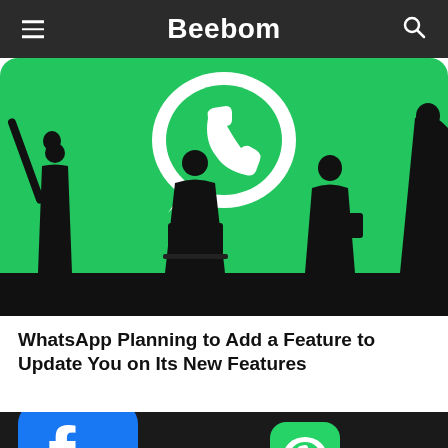Beebom
[Figure (photo): WhatsApp themed image with green background, white WhatsApp logo, and black silhouettes of people using devices]
WhatsApp Planning to Add a Feature to Update You on Its New Features
[Figure (photo): Close-up of Facebook app icon (blue with white f) and another green app icon on a dark background]